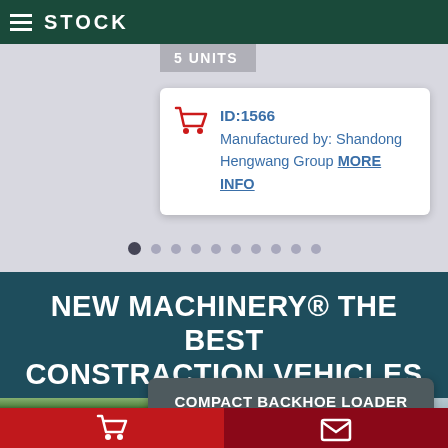STOCK
5 UNITS
ID:1566
Manufactured by: Shandong Hengwang Group MORE INFO
NEW MACHINERY® THE BEST CONSTRACTION VEHICLES
COMPACT BACKHOE LOADER
HW10-20
[Figure (photo): Partial view of a compact backhoe loader machine outdoors with trees in background]